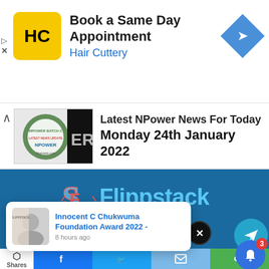[Figure (screenshot): Hair Cuttery advertisement banner with HC logo, 'Book a Same Day Appointment' heading, and 'Hair Cuttery' subtext in blue, with a blue diamond arrow icon on the right]
[Figure (screenshot): NPower news article thumbnail with logo and partially visible text, alongside headline 'Latest NPower News For Today Monday 24th January 2022']
Latest NPower News For Today Monday 24th January 2022
[Figure (logo): Flippstack website logo on blue background with stylized SF icon and 'Flippstack' wordmark in cyan/light blue]
[Figure (screenshot): Social media icon buttons: Facebook, Twitter, Pinterest, LinkedIn circles on blue background, plus an X close button]
Innocent C Chukwuma Foundation Award 2022 -
8 hours ago
GUEST POST
Shares